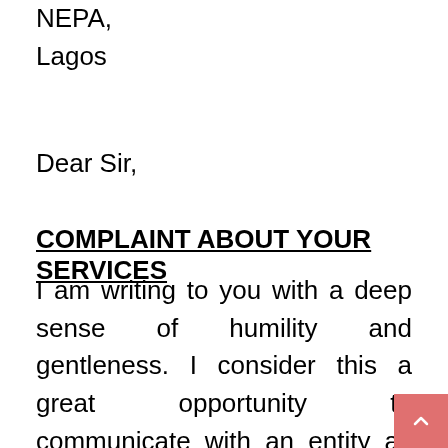NEPA,
Lagos
Dear Sir,
COMPLAINT ABOUT YOUR SERVICES
I am writing to you with a deep sense of humility and gentleness. I consider this a great opportunity to communicate with an entity as awe-inspiring as yourself. Firstly, I bring greetings to you from residents of my area in Lagos.